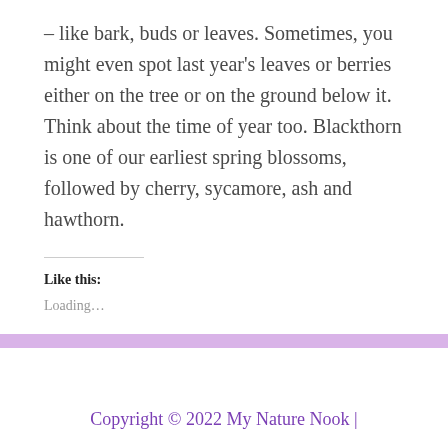– like bark, buds or leaves. Sometimes, you might even spot last year's leaves or berries either on the tree or on the ground below it. Think about the time of year too. Blackthorn is one of our earliest spring blossoms, followed by cherry, sycamore, ash and hawthorn.
Like this:
Loading...
Copyright © 2022 My Nature Nook |